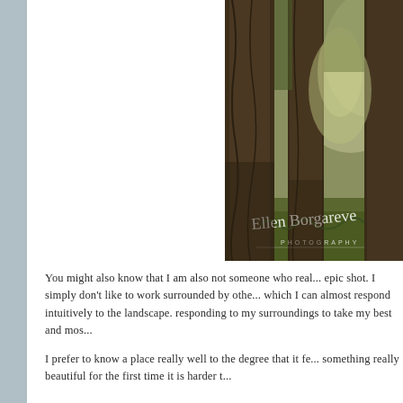[Figure (photo): Forest scene with large tree trunks in misty, green-lit atmosphere. Watermark reads 'Ellen Borgareve PHOTOGRAPHY' in cursive script at bottom.]
You might also know that I am also not someone who real... epic shot. I simply don't like to work surrounded by othe... which I can almost respond intuitively to the landscape.... responding to my surroundings to take my best and mos...
I prefer to know a place really well to the degree that it fe... something really beautiful for the first time it is harder t...